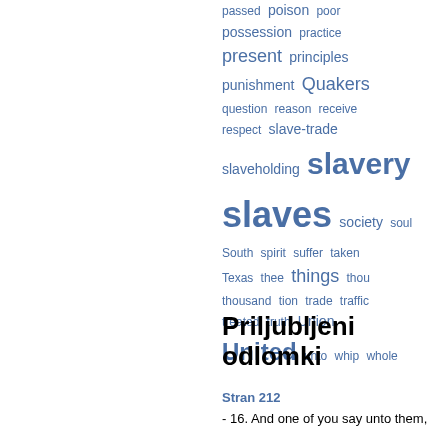[Figure (infographic): Tag cloud with words related to slavery and Quakers in varying font sizes, all in blue: passed, poison, poor, possession, practice, present, principles, punishment, Quakers, question, reason, receive, respect, slave-trade, slaveholding, slavery, slaves, society, soul, South, spirit, suffer, taken, Texas, thee, things, thou, thousand, tion, trade, traffic, treated, truth, Union, United, unto, whip, whole]
Priljubljeni odlomki
Stran 212 - 16. And one of you say unto them,